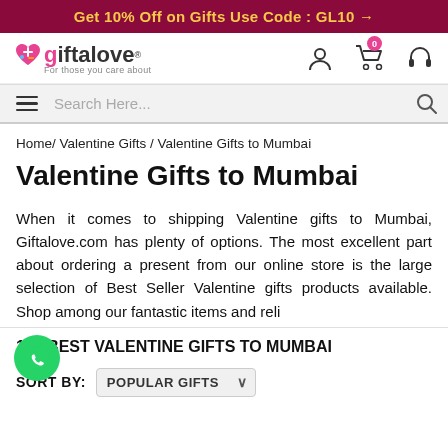Get 10% Off on Gifts Use Code : GL10 →
[Figure (logo): Giftalove logo with heart icon and tagline 'For those you care about']
Search Here...
Home/ Valentine Gifts / Valentine Gifts to Mumbai
Valentine Gifts to Mumbai
When it comes to shipping Valentine gifts to Mumbai, Giftalove.com has plenty of options. The most excellent part about ordering a present from our online store is the large selection of Best Seller Valentine gifts products available. Shop among our fantastic items and reli...
140 BEST VALENTINE GIFTS TO MUMBAI
SORT BY: POPULAR GIFTS